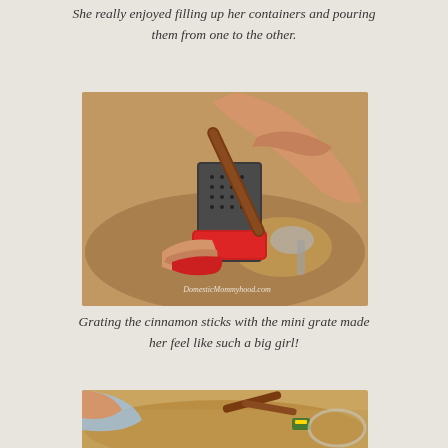She really enjoyed filling up her containers and pouring them from one to the other.
[Figure (photo): Child's hands grating a cinnamon stick on a small red mini box grater, with a brown spice-filled sensory bin in the background. Watermark reads DomesticMommyhood.com]
Grating the cinnamon sticks with the mini grate made her feel like such a big girl!
[Figure (photo): Partial view of child with brown sugar or spice sensory bin, with cinnamon sticks and small colorful items visible inside.]